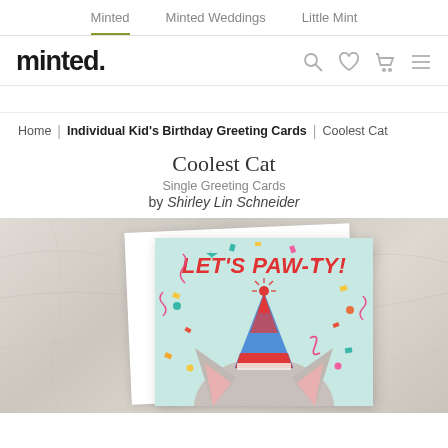Minted | Minted Weddings | Little Mint
[Figure (logo): Minted logo wordmark with navigation icons (search, heart, cart, menu)]
Home | Individual Kid's Birthday Greeting Cards | Coolest Cat
Coolest Cat
Single Greeting Cards
by Shirley Lin Schneider
[Figure (photo): Product photo of Coolest Cat birthday greeting card on marble background. Card shows a cat wearing a party hat with text LET'S PAW-TY! in red letters on a mint green background with colorful confetti.]